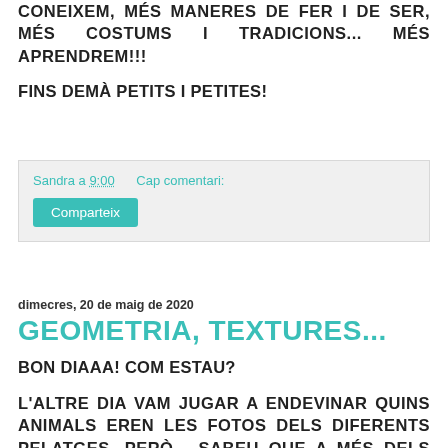CONEIXEM, MÉS MANERES DE FER I DE SER, MÉS COSTUMS I TRADICIONS... MÉS APRENDREM!!!
FINS DEMÀ PETITS I PETITES!
Sandra a 9:00    Cap comentari:
Comparteix
dimecres, 20 de maig de 2020
GEOMETRIA, TEXTURES...
BON DIAAA! COM ESTAU?
L'ALTRE DIA VAM JUGAR A ENDEVINAR QUINS ANIMALS EREN LES FOTOS DELS DIFERENTS PELATGES, PERÒ... SABEU QUE A MÉS DELS PELATGES DELS ANIMALS, PODEM TROBAR FORMES I TEXTURES A MOLTES ALTRES BANDES...